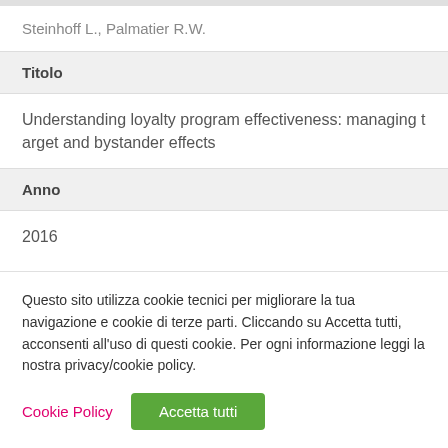Steinhoff L., Palmatier R.W.
Titolo
Understanding loyalty program effectiveness: managing target and bystander effects
Anno
2016
Questo sito utilizza cookie tecnici per migliorare la tua navigazione e cookie di terze parti. Cliccando su Accetta tutti, acconsenti all'uso di questi cookie. Per ogni informazione leggi la nostra privacy/cookie policy.